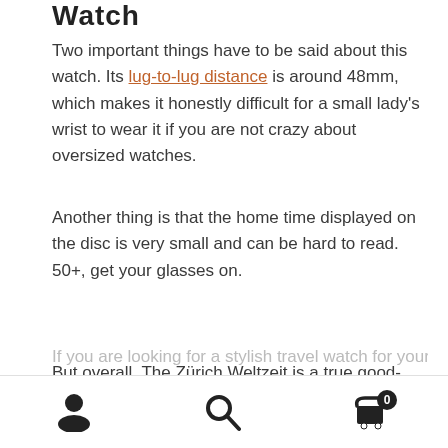Watch
Two important things have to be said about this watch. Its lug-to-lug distance is around 48mm, which makes it honestly difficult for a small lady’s wrist to wear it if you are not crazy about oversized watches.
Another thing is that the home time displayed on the disc is very small and can be hard to read. 50+, get your glasses on.
But overall, The Zürich Weltzeit is a true good-looking watch. It gives you a travel style without any pretention. Thanks to its versatile design, it’s very easy to wear it with casual clothes as well as an elegant suit.
(partial/cut off text at bottom)
navigation bar with person, search, and cart icons